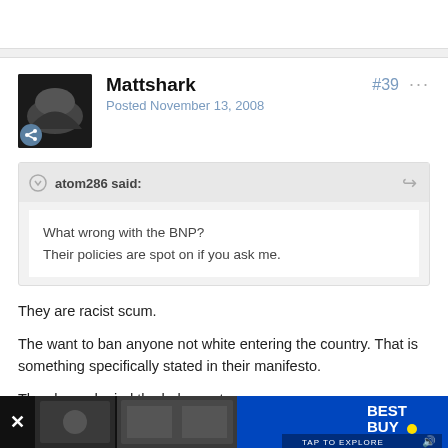Mattshark
Posted November 13, 2008
#39
atom286 said:
What wrong with the BNP?
Their policies are spot on if you ask me.
They are racist scum.
The want to ban anyone not white entering the country. That is something specifically stated in their manifesto.
They have denied the holocaust.
Some of their leading members have been filmed at white supremacist
[Figure (screenshot): Advertisement banner at bottom: Best Buy ad with thumbnail images and 'TAP TO EXPLORE' text]